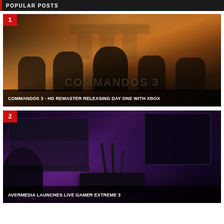POPULAR POSTS
[Figure (photo): Dark war game promotional image for Commandos 3 HD Remaster showing soldiers in front of the Brandenburg Gate with fire and destruction, with overlaid game logo text]
COMMANDOS 3 - HD REMASTER RELEASING DAY ONE WITH XBOX
[Figure (photo): Gaming capture device (AverMedia Live Gamer Extreme 3) shown on a purple-lit desk with headphones, laptop, and gaming monitor in background]
AVERMEDIA LAUNCHES LIVE GAMER EXTREME 3